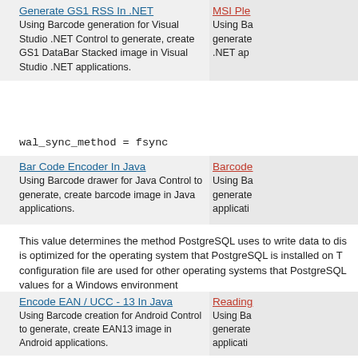Generate GS1 RSS In .NET
Using Barcode generation for Visual Studio .NET Control to generate, create GS1 DataBar Stacked image in Visual Studio .NET applications.
MSI Ple...
Using Ba... generate... .NET ap...
Bar Code Encoder In Java
Using Barcode drawer for Java Control to generate, create barcode image in Java applications.
Barcode...
Using Ba... generate... applicati...
This value determines the method PostgreSQL uses to write data to dis is optimized for the operating system that PostgreSQL is installed on T configuration file are used for other operating systems that PostgreSQL values for a Windows environment
Encode EAN / UCC - 13 In Java
Using Barcode creation for Android Control to generate, create EAN13 image in Android applications.
Reading...
Using Ba... generate... applicati...
Code 128C Creation In VB.NET
Using Barcode maker for VS .NET Control to generate, create USS Code 128 image in VS .NET applications.
Scanning...
Using Ba... to read...